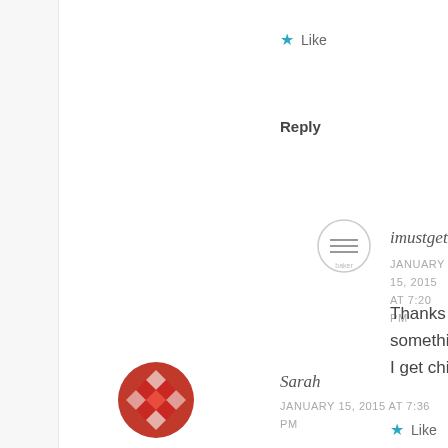★ Like
Reply
[Figure (illustration): Circular avatar icon with horizontal lines, gray outline, for user imustgetaroundtoit]
imustgetaroundtoit
JANUARY 15, 2015 AT 7:20 PM
Thanks Karen, it's the thought of leavin something new. Despite the nerves, I ar I get child care organised.
★ Like
Reply
[Figure (illustration): Red decorative circular avatar with geometric pattern for user Sarah]
Sarah
JANUARY 15, 2015 AT 7:36 PM